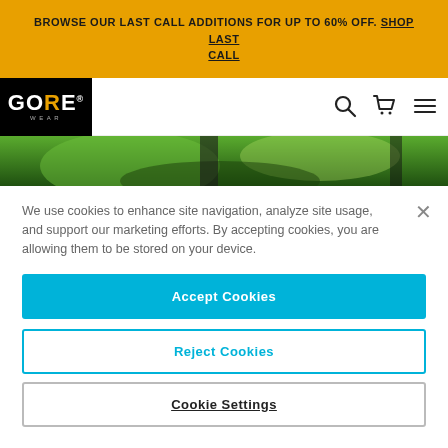BROWSE OUR LAST CALL ADDITIONS FOR UP TO 60% OFF. SHOP LAST CALL
[Figure (logo): GORE WEAR logo in white text on black background]
[Figure (photo): Green foliage hero image strip]
We use cookies to enhance site navigation, analyze site usage, and support our marketing efforts. By accepting cookies, you are allowing them to be stored on your device.
Accept Cookies
Reject Cookies
Cookie Settings